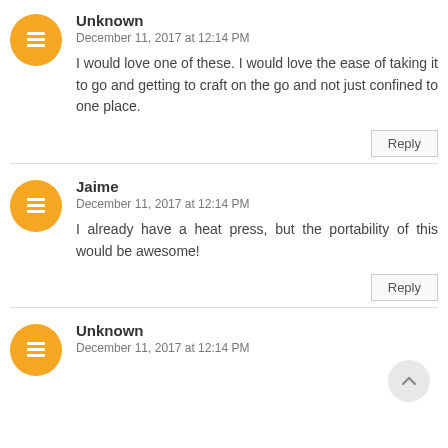Unknown
December 11, 2017 at 12:14 PM
I would love one of these. I would love the ease of taking it to go and getting to craft on the go and not just confined to one place.
Reply
Jaime
December 11, 2017 at 12:14 PM
I already have a heat press, but the portability of this would be awesome!
Reply
Unknown
December 11, 2017 at 12:14 PM